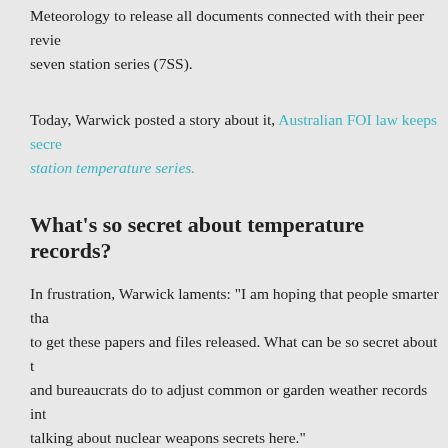Meteorology to release all documents connected with their peer review of the seven station series (7SS).
Today, Warwick posted a story about it, Australian FOI law keeps secret the station temperature series.
What's so secret about temperature records?
In frustration, Warwick laments: “I am hoping that people smarter than me to get these papers and files released. What can be so secret about the work and bureaucrats do to adjust common or garden weather records into… talking about nuclear weapons secrets here.”
I agree. Let’s hope someone with legal expertise and a desire to uncover endeavour and move it forward.
The NZ situation
We’re waiting for the outcome of an investigation by the Ombudsman similar documents related to the peer review.